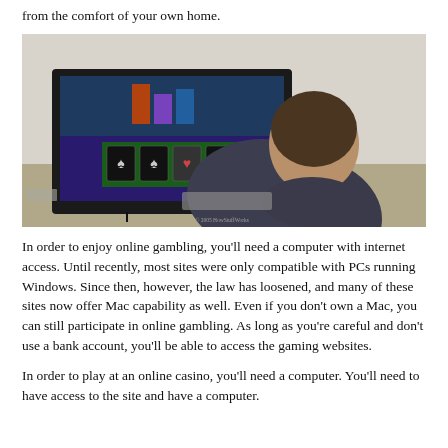from the comfort of your own home.
[Figure (photo): A person sitting at a desk viewing a computer monitor displaying an online gambling/card game interface. The monitor shows colorful cards and a casino game screen. Photo credit: © 2005 HowStuffWorks]
In order to enjoy online gambling, you'll need a computer with internet access. Until recently, most sites were only compatible with PCs running Windows. Since then, however, the law has loosened, and many of these sites now offer Mac capability as well. Even if you don't own a Mac, you can still participate in online gambling. As long as you're careful and don't use a bank account, you'll be able to access the gaming websites.
In order to play at an online casino, you'll need a computer. You'll need to have access to the site and have a computer.